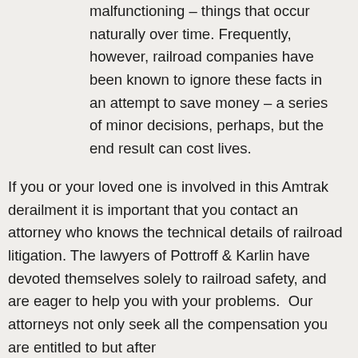malfunctioning – things that occur naturally over time. Frequently, however, railroad companies have been known to ignore these facts in an attempt to save money – a series of minor decisions, perhaps, but the end result can cost lives.
If you or your loved one is involved in this Amtrak derailment it is important that you contact an attorney who knows the technical details of railroad litigation. The lawyers of Pottroff & Karlin have devoted themselves solely to railroad safety, and are eager to help you with your problems. Our attorneys not only seek all the compensation you are entitled to but after